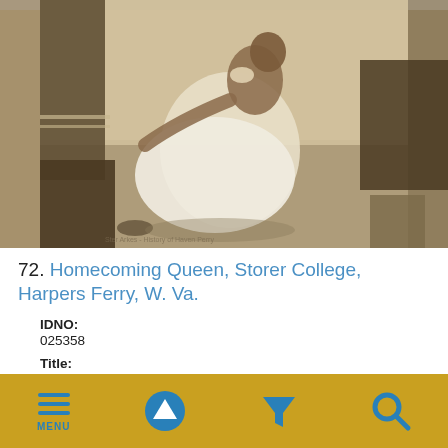[Figure (photo): Sepia-toned historical photograph of a woman in a white dress seated near a piano or furniture, appearing to be the Homecoming Queen at Storer College, Harpers Ferry, W. Va.]
72. Homecoming Queen, Storer College, Harpers Ferry, W. Va.
IDNO:
025358
Title:
Homecoming Queen, Storer College, Harpers Ferry, W. Va.
MENU | (up arrow) | (filter) | (search)